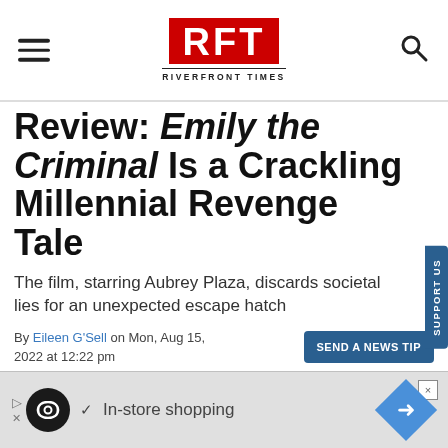RFT RIVERFRONT TIMES
Review: Emily the Criminal Is a Crackling Millennial Revenge Tale
The film, starring Aubrey Plaza, discards societal lies for an unexpected escape hatch
By Eileen G'Sell on Mon, Aug 15, 2022 at 12:22 pm
[Figure (logo): Advertisement banner: loop icon with In-store shopping text and navigation arrow]